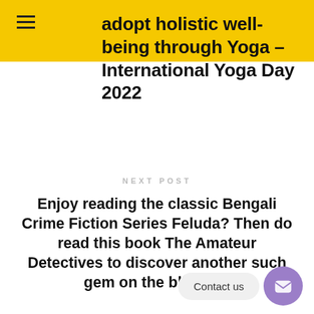≡
adopt holistic well-being through Yoga – International Yoga Day 2022
NEXT POST
Enjoy reading the classic Bengali Crime Fiction Series Feluda? Then do read this book The Amateur Detectives to discover another such gem on the block →
Contact us